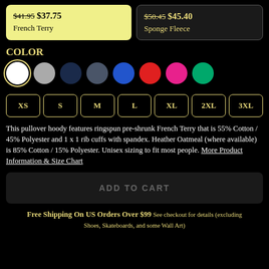$41.95 $37.75 French Terry
$50.45 $45.40 Sponge Fleece
COLOR
[Figure (infographic): Eight color swatches in a row: white (selected/outlined), gray, dark navy, slate gray, royal blue, red, hot pink, green]
[Figure (infographic): Seven size selector buttons in a row: XS, S, M, L, XL, 2XL, 3XL]
This pullover hoody features ringspun pre-shrunk French Terry that is 55% Cotton / 45% Polyester and 1 x 1 rib cuffs with spandex. Heather Oatmeal (where available) is 85% Cotton / 15% Polyester. Unisex sizing to fit most people. More Product Information & Size Chart
ADD TO CART
Free Shipping On US Orders Over $99 See checkout for details (excluding Shoes, Skateboards, and some Wall Art)